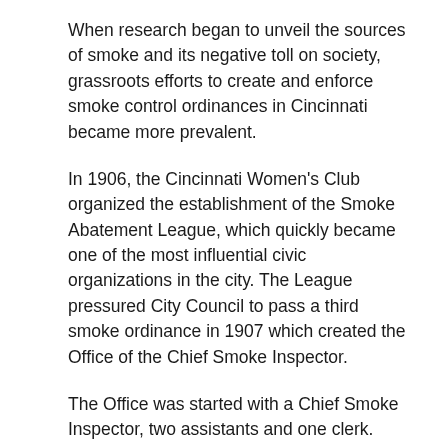When research began to unveil the sources of smoke and its negative toll on society, grassroots efforts to create and enforce smoke control ordinances in Cincinnati became more prevalent.
In 1906, the Cincinnati Women's Club organized the establishment of the Smoke Abatement League, which quickly became one of the most influential civic organizations in the city. The League pressured City Council to pass a third smoke ordinance in 1907 which created the Office of the Chief Smoke Inspector.
The Office was started with a Chief Smoke Inspector, two assistants and one clerk. This Office was the beginning of what is now the Hamilton County Department of Environmental Services.